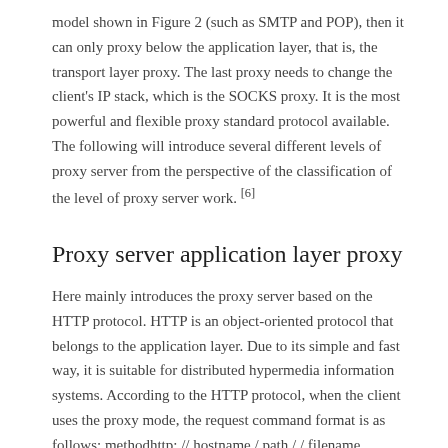model shown in Figure 2 (such as SMTP and POP), then it can only proxy below the application layer, that is, the transport layer proxy. The last proxy needs to change the client's IP stack, which is the SOCKS proxy. It is the most powerful and flexible proxy standard protocol available. The following will introduce several different levels of proxy server from the perspective of the classification of the level of proxy server work. [6]
Proxy server application layer proxy
Here mainly introduces the proxy server based on the HTTP protocol. HTTP is an object-oriented protocol that belongs to the application layer. Due to its simple and fast way, it is suitable for distributed hypermedia information systems. According to the HTTP protocol, when the client uses the proxy mode, the request command format is as follows: methodhttp: // hostname / path / / filename.
After the client
Figure 3 HTTP protocol proxy model